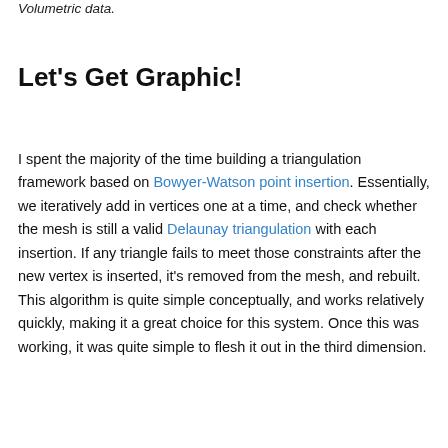Volumetric data.
Let's Get Graphic!
I spent the majority of the time building a triangulation framework based on Bowyer-Watson point insertion. Essentially, we iteratively add in vertices one at a time, and check whether the mesh is still a valid Delaunay triangulation with each insertion. If any triangle fails to meet those constraints after the new vertex is inserted, it's removed from the mesh, and rebuilt. This algorithm is quite simple conceptually, and works relatively quickly, making it a great choice for this system. Once this was working, it was quite simple to flesh it out in the third dimension.